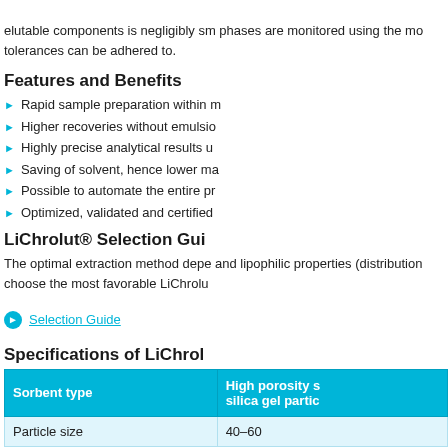elutable components is negligibly s... phases are monitored using the mo... tolerances can be adhered to.
Features and Benefits
Rapid sample preparation within m...
Higher recoveries without emulsio...
Highly precise analytical results u...
Saving of solvent, hence lower ma...
Possible to automate the entire pr...
Optimized, validated and certified ...
LiChrolut® Selection Gui...
The optimal extraction method depe... and lipophilic properties (distribution... choose the most favorable LiChrolu...
Selection Guide
Specifications of LiChrol...
| Sorbent type | High porosity s... silica gel partic... |
| --- | --- |
| Particle size | 40-60... |